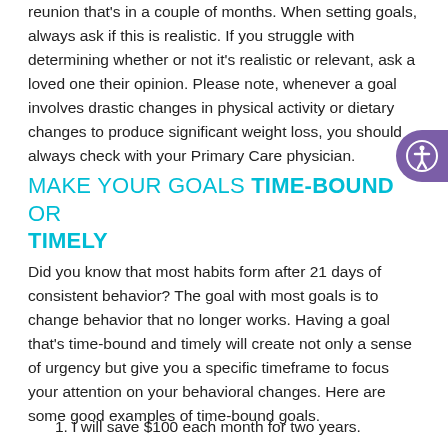reunion that's in a couple of months. When setting goals, always ask if this is realistic. If you struggle with determining whether or not it's realistic or relevant, ask a loved one their opinion. Please note, whenever a goal involves drastic changes in physical activity or dietary changes to produce significant weight loss, you should always check with your Primary Care physician.
MAKE YOUR GOALS TIME-BOUND OR TIMELY
Did you know that most habits form after 21 days of consistent behavior? The goal with most goals is to change behavior that no longer works. Having a goal that's time-bound and timely will create not only a sense of urgency but give you a specific timeframe to focus your attention on your behavioral changes. Here are some good examples of time-bound goals.
1. I will save $100 each month for two years.